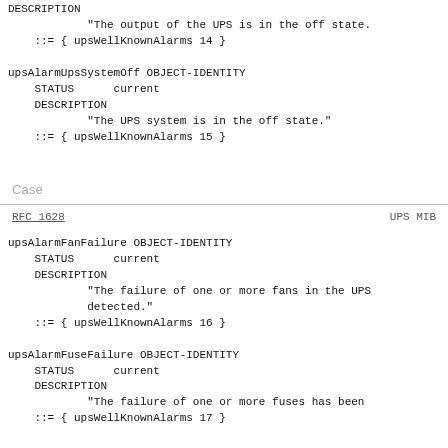DESCRIPTION
            "The output of the UPS is in the off state.
    ::= { upsWellKnownAlarms 14 }
upsAlarmUpsSystemOff OBJECT-IDENTITY
    STATUS      current
    DESCRIPTION
            "The UPS system is in the off state."
    ::= { upsWellKnownAlarms 15 }
Case
RFC 1628                         UPS MIB
upsAlarmFanFailure OBJECT-IDENTITY
    STATUS      current
    DESCRIPTION
            "The failure of one or more fans in the UPS
            detected."
    ::= { upsWellKnownAlarms 16 }
upsAlarmFuseFailure OBJECT-IDENTITY
    STATUS      current
    DESCRIPTION
            "The failure of one or more fuses has been
    ::= { upsWellKnownAlarms 17 }